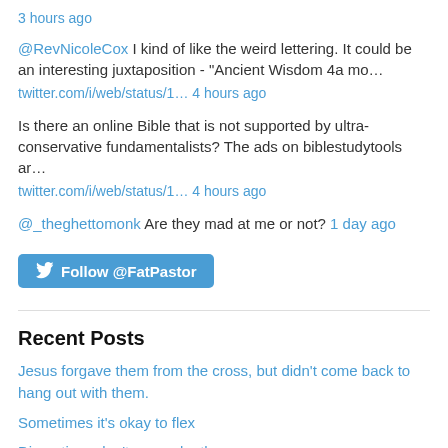3 hours ago
@RevNicoleCox I kind of like the weird lettering. It could be an interesting juxtaposition - "Ancient Wisdom 4a mo…
twitter.com/i/web/status/1… 4 hours ago
Is there an online Bible that is not supported by ultra-conservative fundamentalists? The ads on biblestudytools ar…
twitter.com/i/web/status/1… 4 hours ago
@_theghettomonk Are they mad at me or not? 1 day ago
[Figure (other): Follow @FatPastor button with Twitter bird icon]
Recent Posts
Jesus forgave them from the cross, but didn't come back to hang out with them.
Sometimes it's okay to flex
Disruptions don't mean death